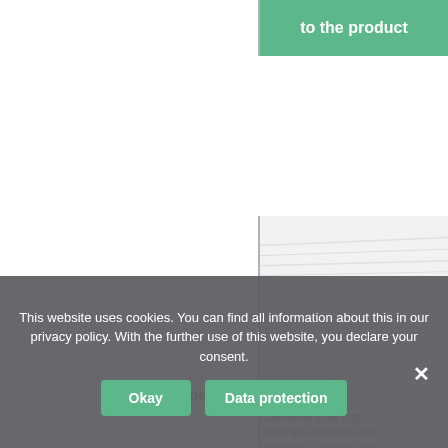[Figure (screenshot): Partial webpage screenshot showing a green button labeled 'to the product' in the top right, a vertical grey divider line, a paper/stack of paper product image on the right side, faded text 'Food paper' and 'Gourmental is our high...' and a cookie consent overlay at the bottom]
to the product
Food paper
Gourmental is our high... supply it to customers and... especially in countries with... ...ulation.
This website uses cookies. You can find all information about this in our privacy policy. With the further use of this website, you declare your consent.
Okay
Data protection